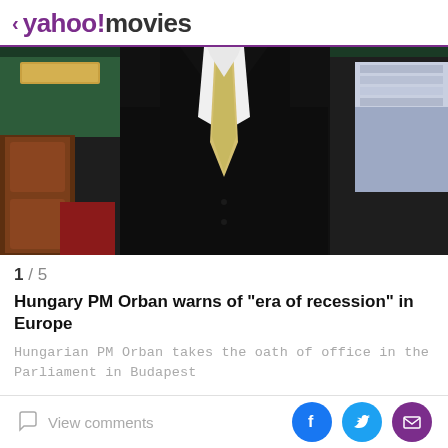< yahoo! movies
[Figure (photo): Man in dark suit with light/gold tie, seated in what appears to be a parliament chamber with green and wood-paneled background]
1 / 5
Hungary PM Orban warns of "era of recession" in Europe
Hungarian PM Orban takes the oath of office in the Parliament in Budapest
By Krisztina Than and Gergely Szakacs
BUDAPEST (Reuters) - Hungarian Prime Minister Viktor
View comments